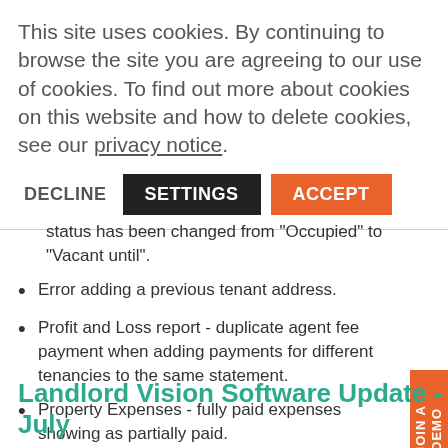This site uses cookies. By continuing to browse the site you are agreeing to our use of cookies. To find out more about cookies on this website and how to delete cookies, see our privacy notice.
DECLINE  SETTINGS  ACCEPT
status has been changed from "Occupied" to "Vacant until".
Error adding a previous tenant address.
Profit and Loss report - duplicate agent fee payment when adding payments for different tenancies to the same statement.
Property Expenses - fully paid expenses showing as partially paid.
Landlord Vision Software Update - July